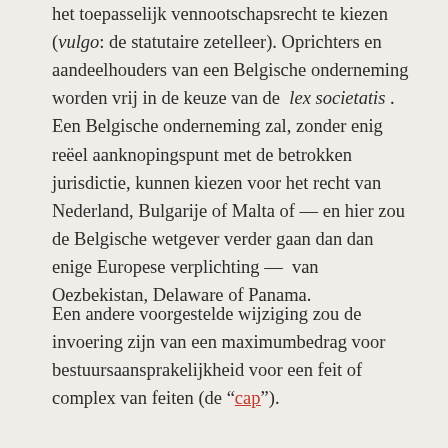het toepasselijk vennootschapsrecht te kiezen (vulgo: de statutaire zetelleer). Oprichters en aandeelhouders van een Belgische onderneming worden vrij in de keuze van de lex societatis . Een Belgische onderneming zal, zonder enig reëel aanknopingspunt met de betrokken jurisdictie, kunnen kiezen voor het recht van Nederland, Bulgarije of Malta of — en hier zou de Belgische wetgever verder gaan dan dan enige Europese verplichting —  van Oezbekistan, Delaware of Panama.
Een andere voorgestelde wijziging zou de invoering zijn van een maximumbedrag voor bestuursaansprakelijkheid voor een feit of complex van feiten (de "cap").